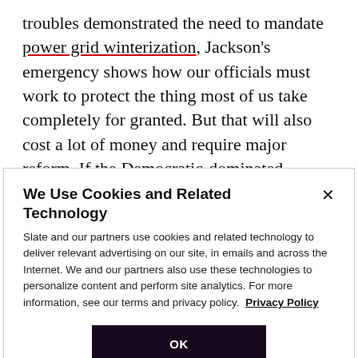troubles demonstrated the need to mandate power grid winterization, Jackson's emergency shows how our officials must work to protect the thing most of us take completely for granted. But that will also cost a lot of money and require major reform. If the Democratic-dominated federal government is already having issues figuring out national infrastructure priorities, the hard-right Mississippi Legislature certainly won't fulfill its own state's needs. More than likely, your city or state is
We Use Cookies and Related Technology
Slate and our partners use cookies and related technology to deliver relevant advertising on our site, in emails and across the Internet. We and our partners also use these technologies to personalize content and perform site analytics. For more information, see our terms and privacy policy. Privacy Policy